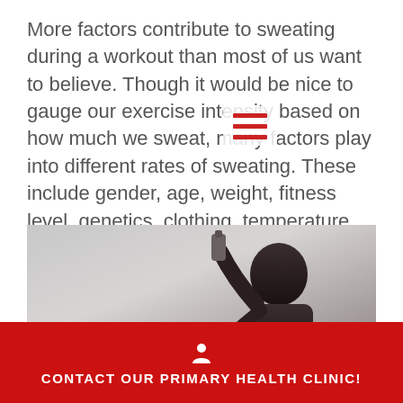More factors contribute to sweating during a workout than most of us want to believe. Though it would be nice to gauge our exercise intensity based on how much we sweat, many factors play into different rates of sweating. These include gender, age, weight, fitness level, genetics, clothing, temperature, and humidity.
[Figure (photo): Person drinking from a water bottle after a workout, blurred background with overcast sky]
CONTACT OUR PRIMARY HEALTH CLINIC!